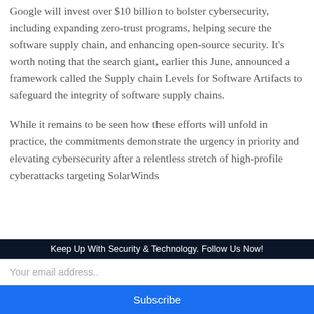Google will invest over $10 billion to bolster cybersecurity, including expanding zero-trust programs, helping secure the software supply chain, and enhancing open-source security. It's worth noting that the search giant, earlier this June, announced a framework called the Supply chain Levels for Software Artifacts to safeguard the integrity of software supply chains.
While it remains to be seen how these efforts will unfold in practice, the commitments demonstrate the urgency in priority and elevating cybersecurity after a relentless stretch of high-profile cyberattacks targeting SolarWinds...
We use cookies on our website to give you the most relevant experience by remembering your preferences and repeat visits. By clicking "Accept All", you consent to the use of ALL the cookies. However, you may visit "Cookie Settings" to
Keep Up With Security & Technology. Follow Us Now!
Your email address..
Subscribe